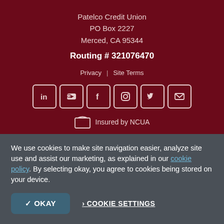Patelco Credit Union
PO Box 2227
Merced, CA 95344
Routing # 321076470
Privacy | Site Terms
[Figure (infographic): Social media icons row: LinkedIn, YouTube, Facebook, Instagram, Twitter, Email]
Insured by NCUA
We use cookies to make site navigation easier, analyze site use and assist our marketing, as explained in our cookie policy. By selecting okay, you agree to cookies being stored on your device.
✓ OKAY
› COOKIE SETTINGS